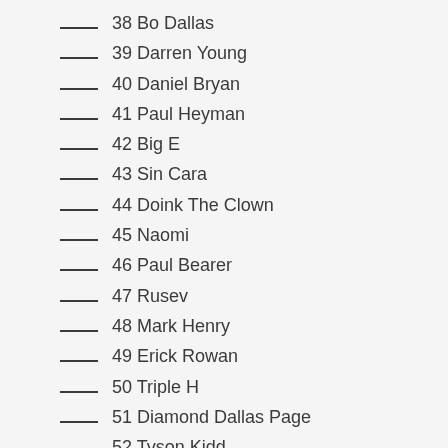___ 38 Bo Dallas
___ 39 Darren Young
___ 40 Daniel Bryan
___ 41 Paul Heyman
___ 42 Big E
___ 43 Sin Cara
___ 44 Doink The Clown
___ 45 Naomi
___ 46 Paul Bearer
___ 47 Rusev
___ 48 Mark Henry
___ 49 Erick Rowan
___ 50 Triple H
___ 51 Diamond Dallas Page
___ 52 Tyson Kidd
___ 53 The British Bulldog
___ 54 Razor Ramon